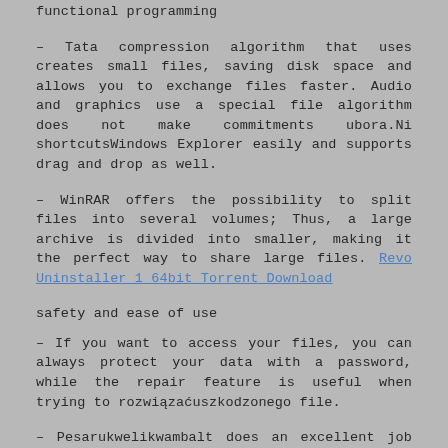functional programming
– Tata compression algorithm that uses creates small files, saving disk space and allows you to exchange files faster. Audio and graphics use a special file algorithm does not make commitments ubora.Ni shortcutsWindows Explorer easily and supports drag and drop as well.
– WinRAR offers the possibility to split files into several volumes; Thus, a large archive is divided into smaller, making it the perfect way to share large files. Revo Uninstaller 1 64bit Torrent Download
safety and ease of use
– If you want to access your files, you can always protect your data with a password, while the repair feature is useful when trying to rozwiązaćuszkodzonego file.
– Pesarukwelikwambalt does an excellent job when it comes to compressing files WinRAR also